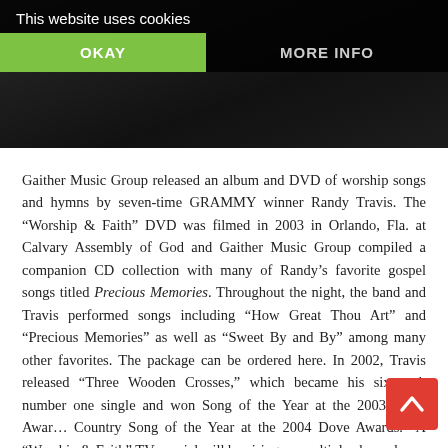[Figure (photo): Dark-toned photo of a person (Randy Travis) in a suit, partially visible behind cookie consent banner]
This website uses cookies
OKAY
MORE INFO
Gaither Music Group released an album and DVD of worship songs and hymns by seven-time GRAMMY winner Randy Travis. The “Worship & Faith” DVD was filmed in 2003 in Orlando, Fla. at Calvary Assembly of God and Gaither Music Group compiled a companion CD collection with many of Randy’s favorite gospel songs titled Precious Memories. Throughout the night, the band and Travis performed songs including “How Great Thou Art” and “Precious Memories” as well as “Sweet By and By” among many other favorites. The package can be ordered here. In 2002, Travis released “Three Wooden Crosses,” which became his sixteenth number one single and won Song of the Year at the 2003 CMA Awards and Country Song of the Year at the 2004 Dove Awards. A “Worship & Faith” TV special will be airing on multiple channels